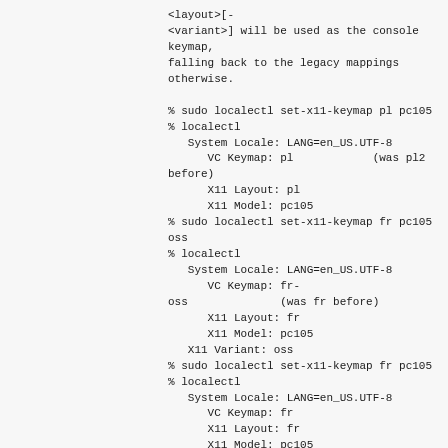<layout>[-
<variant>] will be used as the console keymap, falling back to the legacy mappings otherwise.

% sudo localectl set-x11-keymap pl pc105
% localectl
   System Locale: LANG=en_US.UTF-8
      VC Keymap: pl              (was pl2 before)
      X11 Layout: pl
      X11 Model: pc105
% sudo localectl set-x11-keymap fr pc105 oss
% localectl
   System Locale: LANG=en_US.UTF-8
      VC Keymap: fr-
oss               (was fr before)
      X11 Layout: fr
      X11 Model: pc105
   X11 Variant: oss
% sudo localectl set-x11-keymap fr pc105
% localectl
   System Locale: LANG=en_US.UTF-8
      VC Keymap: fr
      X11 Layout: fr
      X11 Model: pc105
% sudo localectl set-x11-keymap gb
% localectl
   System Locale: LANG=en_US.UTF-8
      VC Keymap: gb              (was uk before)
      X11 Layout: gb